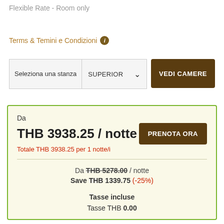Flexible Rate - Room only
Terms & Temini e Condizioni ℹ
Seleziona una stanza  SUPERIOR  VEDI CAMERE
Da
THB 3938.25 / notte
Totale THB 3938.25 per 1 notte/i
Da THB 5278.00 / notte
Save THB 1339.75 (-25%)
Tasse incluse
Tasse THB 0.00